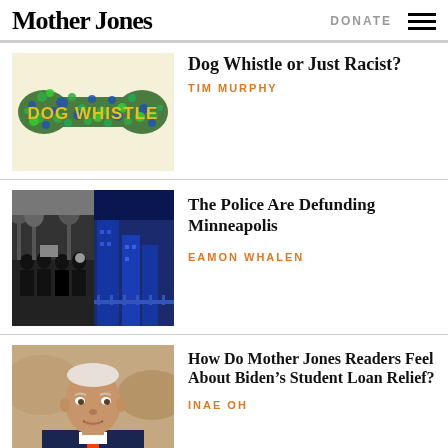Mother Jones | DONATE
[Figure (illustration): Dog Whistle article thumbnail - colorful dot pattern shaped like a dog bone with text DOG WHISTLE]
Dog Whistle or Just Racist?
TIM MURPHY
[Figure (photo): Police article thumbnail - split image of protest in black and white and blue-tinted cityscape]
The Police Are Defunding Minneapolis
EAMON WHALEN
[Figure (photo): Biden article thumbnail - photo of Joe Biden speaking at microphone]
How Do Mother Jones Readers Feel About Biden's Student Loan Relief?
INAE OH